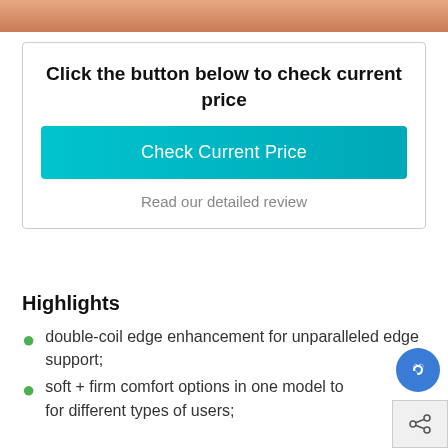[Figure (photo): Top portion of an image partially visible at the top of the page]
Click the button below to check current price
Check Current Price
Read our detailed review
Highlights
double-coil edge enhancement for unparalleled edge support;
soft + firm comfort options in one model to for different types of users;